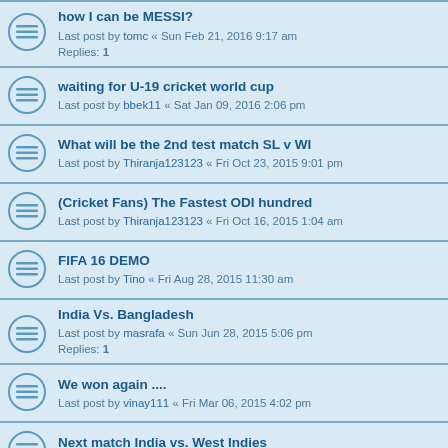how I can be MESSI? — Last post by tomc « Sun Feb 21, 2016 9:17 am — Replies: 1
waiting for U-19 cricket world cup — Last post by bbek11 « Sat Jan 09, 2016 2:06 pm
What will be the 2nd test match SL v WI — Last post by Thiranja123123 « Fri Oct 23, 2015 9:01 pm
(Cricket Fans) The Fastest ODI hundred — Last post by Thiranja123123 « Fri Oct 16, 2015 1:04 am
FIFA 16 DEMO — Last post by Tino « Fri Aug 28, 2015 11:30 am
India Vs. Bangladesh — Last post by masrafa « Sun Jun 28, 2015 5:06 pm — Replies: 1
We won again .... — Last post by vinay111 « Fri Mar 06, 2015 4:02 pm
Next match India vs. West Indies — Last post by vinay111 « Wed Mar 04, 2015 3:10 pm
Who Will win ICC World Cup ? — Last post by vinay111 « Wed Feb 25, 2015 3:58 pm
Who will win World Cup 2014? — Last post by jasarora07 « Sat Jan 24, 2015 9:59 am — Replies: 8
Snooker ?